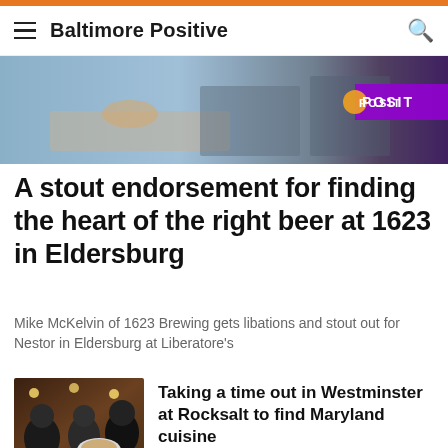Baltimore Positive
[Figure (photo): Hero image showing hands at a table with Baltimore Positive POSIT logo overlay]
A stout endorsement for finding the heart of the right beer at 1623 in Eldersburg
Mike McKelvin of 1623 Brewing gets libations and stout out for Nestor in Eldersburg at Liberatore's
[Figure (photo): Two men at a restaurant holding a plate of food with Baltimore Positive logo]
Taking a time out in Westminster at Rocksalt to find Maryland cuisine
[Figure (photo): Ravens themed gameday scratch cards and lottery tickets]
When Gameday is everyday